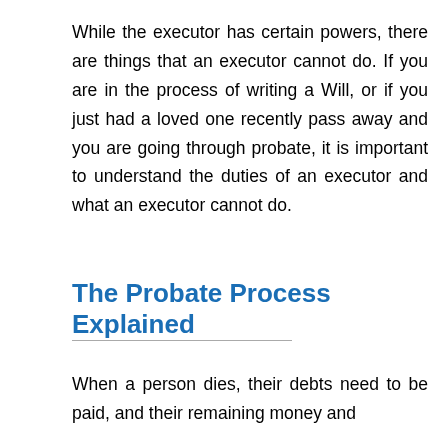While the executor has certain powers, there are things that an executor cannot do. If you are in the process of writing a Will, or if you just had a loved one recently pass away and you are going through probate, it is important to understand the duties of an executor and what an executor cannot do.
The Probate Process Explained
When a person dies, their debts need to be paid, and their remaining money and